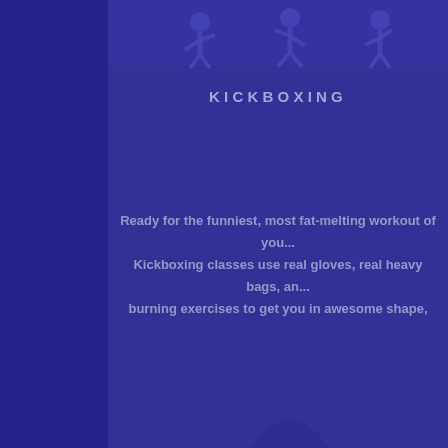[Figure (illustration): Dark indigo/purple background with silhouette figures of people kickboxing at the top. A semi-transparent lighter purple content panel overlays the right portion of the page.]
KICKBOXING
Ready for the funniest, most fat-melting workout of you... Kickboxing classes use real gloves, real heavy bags, an... burning exercises to get you in awesome shape,